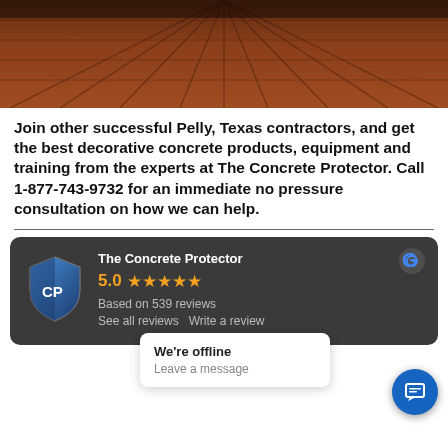[Figure (photo): Wooden plank floor/deck viewed from above, warm reddish-brown tones, perspective view converging upward]
Join other successful Pelly, Texas contractors, and get the best decorative concrete products, equipment and training from the experts at The Concrete Protector. Call 1-877-743-9732 for an immediate no pressure consultation on how we can help.
[Figure (infographic): Google review widget on dark background showing The Concrete Protector logo (shield with CP), rating of 5.0 with 5 orange stars, Based on 539 reviews, See all reviews / Write a review links, Google logo in top right. Overlaid with offline chat popup saying We're offline / Leave a message, and a blue chat button.]